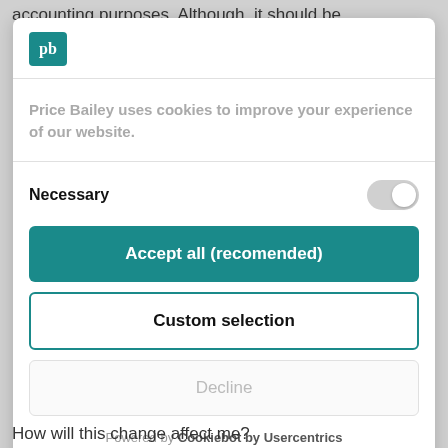accounting purposes. Although, it should be
[Figure (logo): Price Bailey logo - teal square with 'pb' letters in white serif font]
Price Bailey uses cookies to improve your experience of our website.
Necessary
Accept all (recomended)
Custom selection
Decline
Powered by Cookiebot by Usercentrics
How will this change affect me?